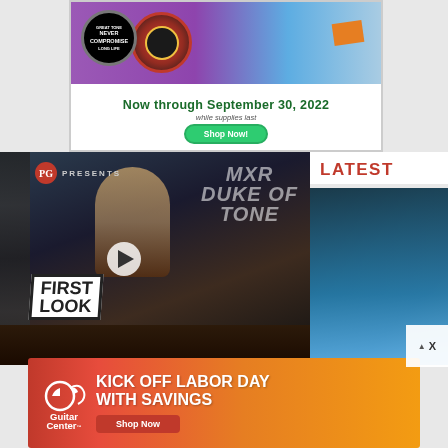[Figure (photo): Advertisement for guitar strings — Great Tone Never Compromise Long Life badge, guitar strings pack photo, purple/teal background with orange accent. Text: Now through September 30, 2022 / while supplies last / Shop Now! button]
[Figure (screenshot): Video thumbnail: PG Presents — MXR Duke of Tone First Look. Shows a person with light hair holding a guitar, film strip background, First Look badge overlay, play button in center.]
LATEST
[Figure (photo): Sidebar image showing close-up of blue guitar body/amp]
[Figure (infographic): Guitar Center advertisement — Kick Off Labor Day With Savings / Shop Now button. Orange-red gradient background with Guitar Center logo.]